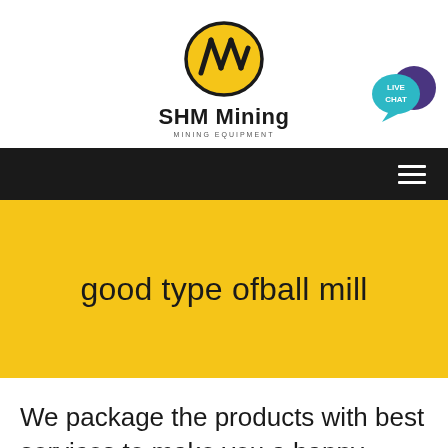[Figure (logo): SHM Mining logo with black and yellow diagonal-striped oval shape, text 'SHM Mining' and 'MINING EQUIPMENT' below]
[Figure (illustration): Live Chat speech bubble icon in teal/purple colors with text 'LIVE CHAT']
good type ofball mill
We package the products with best services to make you a happy